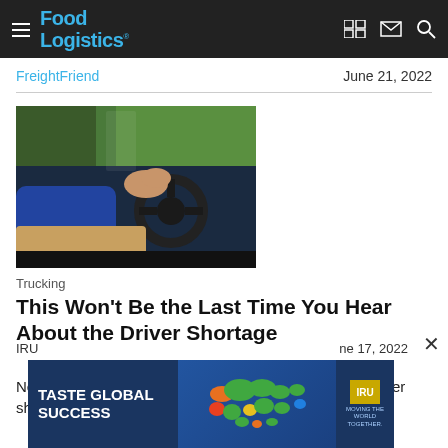Food Logistics
FreightFriend
June 21, 2022
[Figure (photo): A truck driver in a blue shirt holding a steering wheel with a package visible, photographed from the side.]
Trucking
This Won't Be the Last Time You Hear About the Driver Shortage
New research reveals a likely increase of 40% in the driver shortage
[Figure (infographic): Advertisement banner: TASTE GLOBAL SUCCESS with a colorful world map and IRU logo.]
IRU
ne 17, 2022